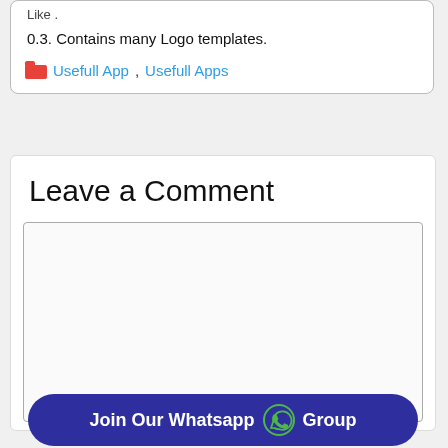Like .
0.3. Contains many Logo templates.
Usefull App, Usefull Apps
Leave a Comment
[Figure (screenshot): Empty comment text area input box]
Join Our Whatsapp Group